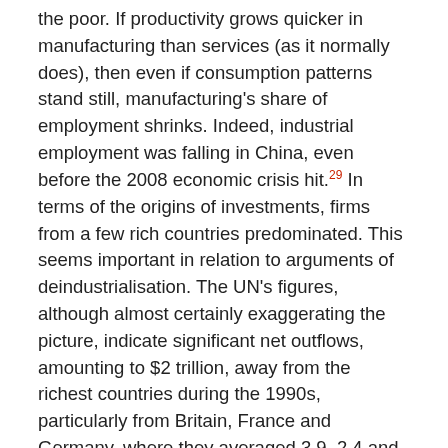the poor. If productivity grows quicker in manufacturing than services (as it normally does), then even if consumption patterns stand still, manufacturing's share of employment shrinks. Indeed, industrial employment was falling in China, even before the 2008 economic crisis hit.29 In terms of the origins of investments, firms from a few rich countries predominated. This seems important in relation to arguments of deindustrialisation. The UN's figures, although almost certainly exaggerating the picture, indicate significant net outflows, amounting to $2 trillion, away from the richest countries during the 1990s, particularly from Britain, France and Germany, where they averaged 3.9, 2.4 and 1.6 percent of GDP respectively. These are significant sums, and plausibly contributed to slow growth and deindustrialisation. However, in the US where deindustrialisation was